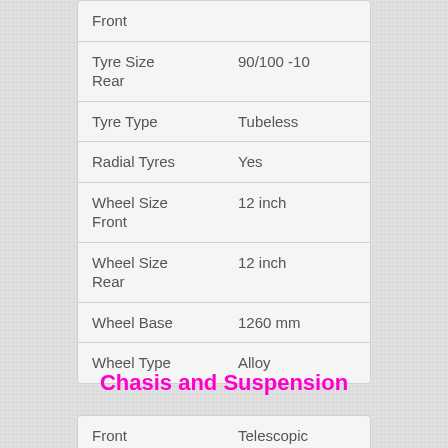| Specification | Value |
| --- | --- |
| Front |  |
| Tyre Size Rear | 90/100 -10 |
| Tyre Type | Tubeless |
| Radial Tyres | Yes |
| Wheel Size Front | 12 inch |
| Wheel Size Rear | 12 inch |
| Wheel Base | 1260 mm |
| Wheel Type | Alloy |
Chasis and Suspension
| Specification | Value |
| --- | --- |
| Front | Telescopic |